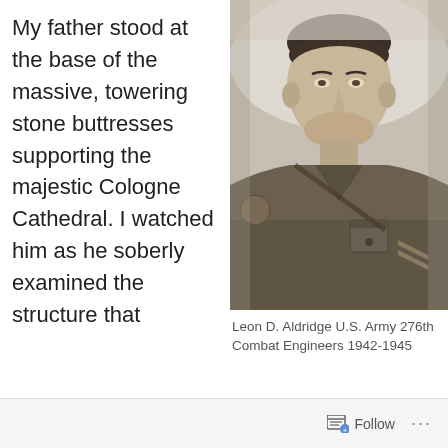My father stood at the base of the massive, towering stone buttresses supporting the majestic Cologne Cathedral. I watched him as he soberly examined the structure that
[Figure (photo): Black and white military portrait photo of Leon D. Aldridge in U.S. Army uniform with rank chevrons visible on sleeve]
Leon D. Aldridge U.S. Army 276th Combat Engineers 1942-1945
Follow ...